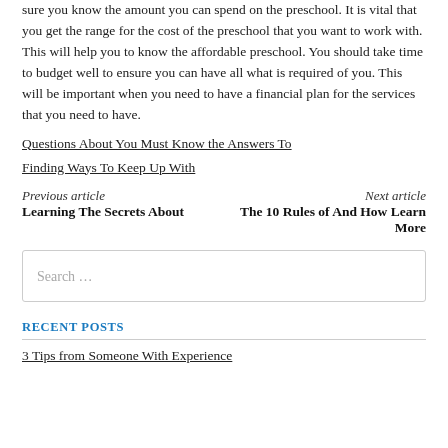sure you know the amount you can spend on the preschool. It is vital that you get the range for the cost of the preschool that you want to work with. This will help you to know the affordable preschool. You should take time to budget well to ensure you can have all what is required of you. This will be important when you need to have a financial plan for the services that you need to have.
Questions About You Must Know the Answers To
Finding Ways To Keep Up With
Previous article
Learning The Secrets About
Next article
The 10 Rules of And How Learn More
Search …
RECENT POSTS
3 Tips from Someone With Experience